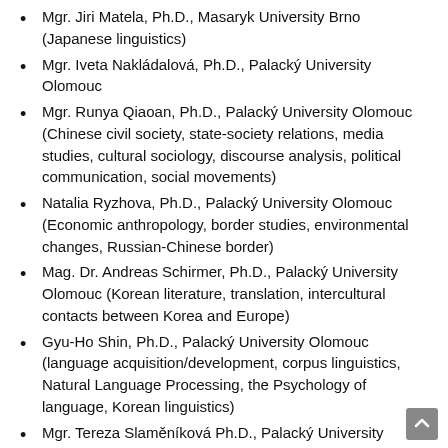Mgr. Jiri Matela, Ph.D., Masaryk University Brno (Japanese linguistics)
Mgr. Iveta Nakládalová, Ph.D., Palacký University Olomouc
Mgr. Runya Qiaoan, Ph.D., Palacký University Olomouc (Chinese civil society, state-society relations, media studies, cultural sociology, discourse analysis, political communication, social movements)
Natalia Ryzhova, Ph.D., Palacký University Olomouc (Economic anthropology, border studies, environmental changes, Russian-Chinese border)
Mag. Dr. Andreas Schirmer, Ph.D., Palacký University Olomouc (Korean literature, translation, intercultural contacts between Korea and Europe)
Gyu-Ho Shin, Ph.D., Palacký University Olomouc (language acquisition/development, corpus linguistics, Natural Language Processing, the Psychology of language, Korean linguistics)
Mgr. Tereza Slaměníková Ph.D., Palacký University Olomouc (modern Chinese grammatology, phonological system of Chinese,